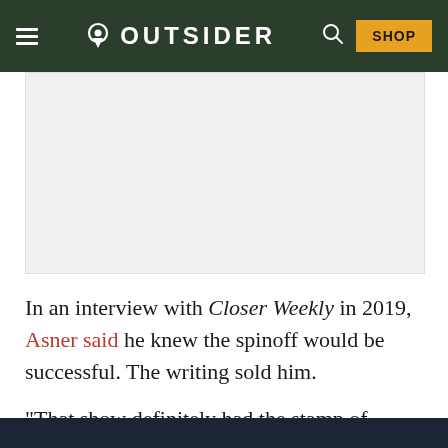OUTSIDER
[Figure (other): Advertisement placeholder, light gray rectangle]
In an interview with Closer Weekly in 2019, Asner said he knew the spinoff would be successful. The writing sold him.
“That show definitely had the stamp of